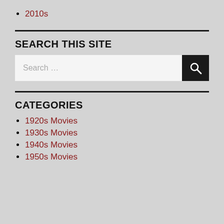2010s
SEARCH THIS SITE
[Figure (other): Search bar with text input showing 'Search ...' placeholder and a dark search button with magnifying glass icon]
CATEGORIES
1920s Movies
1930s Movies
1940s Movies
1950s Movies